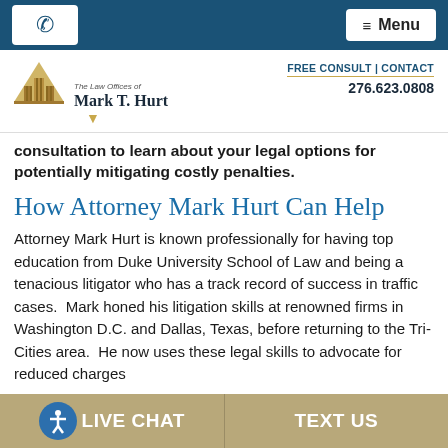📞  ≡ Menu
[Figure (logo): The Law Offices of Mark T. Hurt logo with gold pyramid/building icon and dark text]
FREE CONSULT | CONTACT
276.623.0808
consultation to learn about your legal options for potentially mitigating costly penalties.
How Attorney Mark Hurt Can Help
Attorney Mark Hurt is known professionally for having top education from Duke University School of Law and being a tenacious litigator who has a track record of success in traffic cases.  Mark honed his litigation skills at renowned firms in Washington D.C. and Dallas, Texas, before returning to the Tri-Cities area.  He now uses these legal skills to advocate for reduced charges
LIVE CHAT    TEXT US